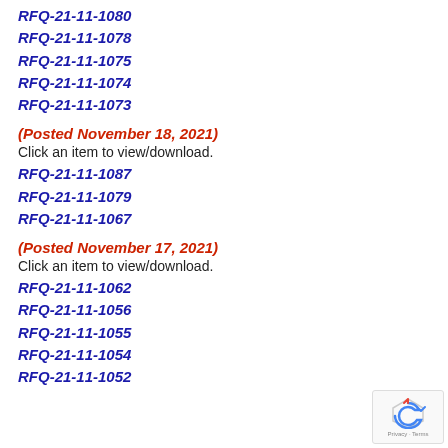RFQ-21-11-1080
RFQ-21-11-1078
RFQ-21-11-1075
RFQ-21-11-1074
RFQ-21-11-1073
(Posted November 18, 2021)
Click an item to view/download.
RFQ-21-11-1087
RFQ-21-11-1079
RFQ-21-11-1067
(Posted November 17, 2021)
Click an item to view/download.
RFQ-21-11-1062
RFQ-21-11-1056
RFQ-21-11-1055
RFQ-21-11-1054
RFQ-21-11-1052